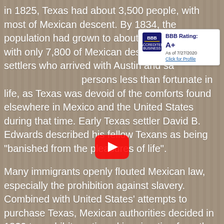in 1825, Texas had about 3,500 people, with most of Mexican descent. By 1834, the population had grown to about 37,800 people, with only 7,800 of Mexican descent. early settlers who arrived with Austin and similar persons less than fortunate in life, as Texas was devoid of the comforts found elsewhere in Mexico and the United States during that time. Early Texas settler David B. Edwards described his fellow Texans as being "banished from the pleasures of life".
[Figure (logo): BBB Accredited Business badge showing BBB Rating: A+ As of 7/27/2020 Click for Profile]
[Figure (screenshot): YouTube video play button overlay on background image]
Many immigrants openly flouted Mexican law, especially the prohibition against slavery. Combined with United States' attempts to purchase Texas, Mexican authorities decided in 1830 to prohibit continued immigration from the United States. Illegal immigration from the United States into Mexico continued to increase the population of Texas anyway. New laws also called for the enforcement of customs duties